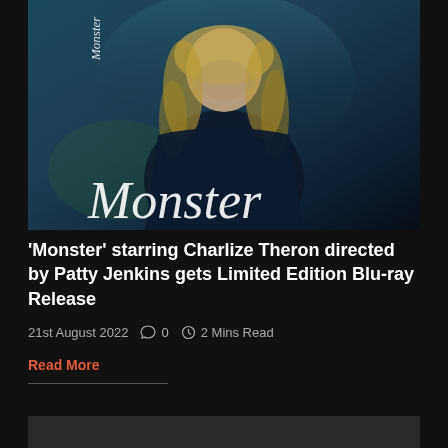[Figure (photo): Movie poster/still for 'Monster' showing a woman with curly blonde hair looking down against a dark teal/blue background, with the word 'Monster' written in white script across the image]
'Monster' starring Charlize Theron directed by Patty Jenkins gets Limited Edition Blu-ray Release
21st August 2022  0  2 Mins Read
Read More